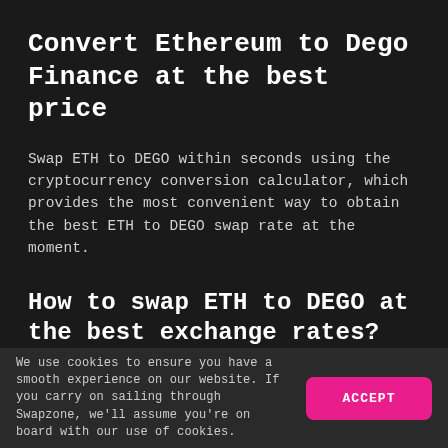Convert Ethereum to Dego Finance at the best price
Swap ETH to DEGO within seconds using the cryptocurrency conversion calculator, which provides the most convenient way to obtain the best ETH to DEGO swap rate at the moment.
How to swap ETH to DEGO at the best exchange rates?
Swapzone helps you swap Ethereum to Dego Finance making the most of it by selecting the most profitable exchange deals currently available on the cryptocurrency market. To find the best exchange rate, sort available
We use cookies to ensure you have a smooth experience on our website. If you carry on sailing through Swapzone, we'll assume you're on board with our use of cookies.